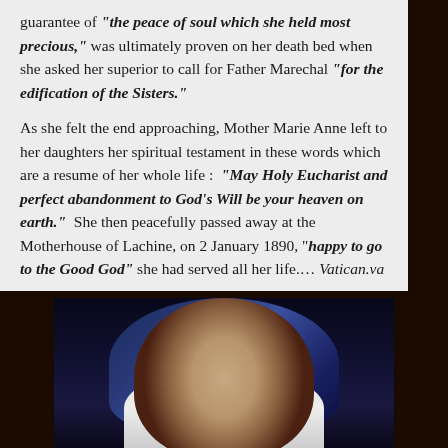guarantee of "the peace of soul which she held most precious," was ultimately proven on her death bed when she asked her superior to call for Father Marechal "for the edification of the Sisters."

As she felt the end approaching, Mother Marie Anne left to her daughters her spiritual testament in these words which are a resume of her whole life : "May Holy Eucharist and perfect abandonment to God's Will be your heaven on earth." She then peacefully passed away at the Motherhouse of Lachine, on 2 January 1890, "happy to go to the Good God" she had served all her life.... Vatican.va
[Figure (photo): Portrait painting of a nun wearing a dark blue veil and white habit, shown from shoulders up against a dark background with blue atmospheric lighting]